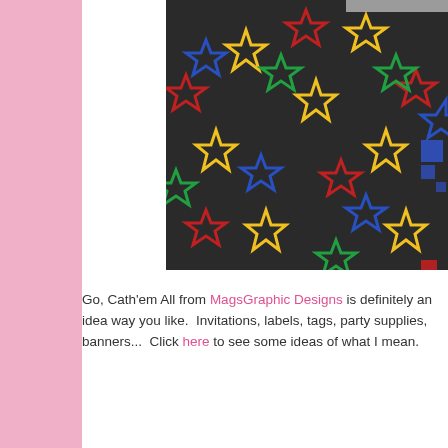[Figure (photo): A dark background fabric/paper pattern with colorful outlined stars (yellow, red, green, blue) and geometric shapes scattered across it. Partially cropped at right edge.]
Go, Cath'em All from MagsGraphic Designs is definitely an idea way you like.  Invitations, labels, tags, party supplies, banners...  Click here to see some ideas of what I mean.